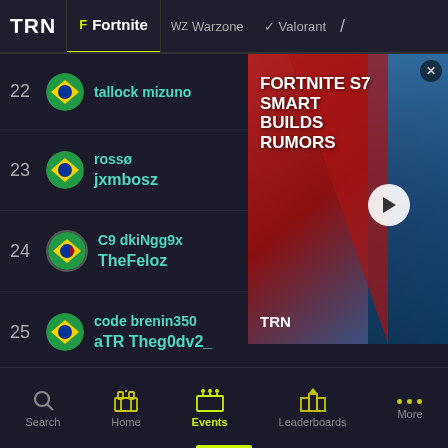TRN | Fortnite | Warzone | Valorant
22 tallock mizuno | 284 9 2 8.11 15.3
23 rossø / jxmbosz
[Figure (screenshot): FORTNITE S7 SMART BUILDS RUMORS video ad with TRN logo]
24 C9 dkiNgg9x / TheFeloz | 283 9 1 8.33 11.8
25 code brenin350 / aTR Theg0dv2_ | 282 9 2 5.00 11.0
26 villareyli / Twitch 1Zolin | 281 9 2 10.89 16.8
Search | Home | Events | Leaderboards | More